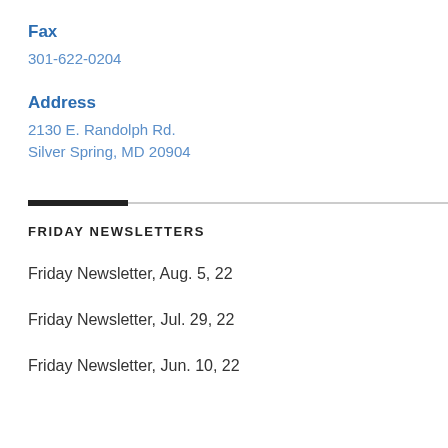Fax
301-622-0204
Address
2130 E. Randolph Rd.
Silver Spring, MD 20904
FRIDAY NEWSLETTERS
Friday Newsletter, Aug. 5, 22
Friday Newsletter, Jul. 29, 22
Friday Newsletter, Jun. 10, 22